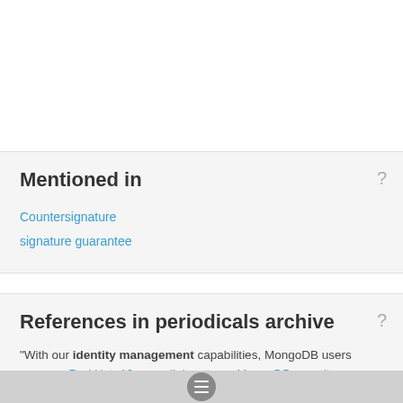Mentioned in
Countersignature
signature guarantee
References in periodicals archive
"With our identity management capabilities, MongoDB users
Red Hat, 10gen collaborate on MongoDB security
For BMC's Business Service Ma... ort customers, SailPoint